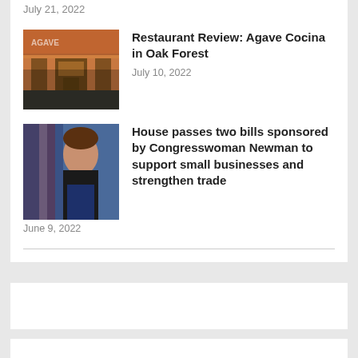July 21, 2022
Restaurant Review: Agave Cocina in Oak Forest
July 10, 2022
House passes two bills sponsored by Congresswoman Newman to support small businesses and strengthen trade
June 9, 2022